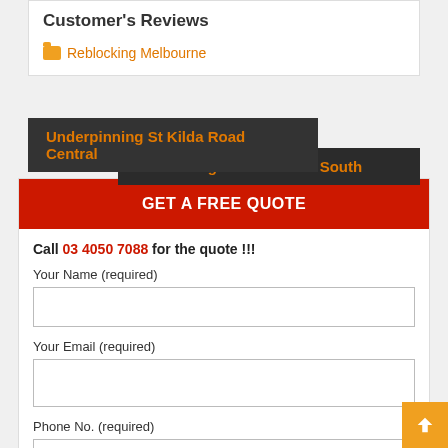Customer's Reviews
Reblocking Melbourne
Underpinning St Kilda Road Central
Reblocking Narre Warren South
GET A FREE QUOTE
Call 03 4050 7088 for the quote !!!
Your Name (required)
Your Email (required)
Phone No. (required)